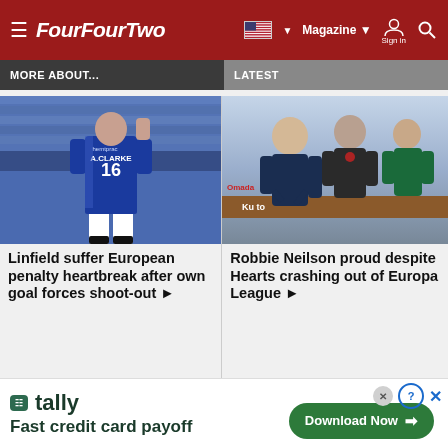FourFourTwo — Magazine | Sign in
MORE ABOUT...
LATEST
[Figure (photo): Linfield footballer wearing blue kit with number 16 and name CLARKE, facing away, hand on head, empty stadium seats in background]
Linfield suffer European penalty heartbreak after own goal forces shoot-out ▶
[Figure (photo): Robbie Neilson and other people on the sideline/dugout area, animated discussion, partial advertising board visible]
Robbie Neilson proud despite Hearts crashing out of Europa League ▶
[Figure (other): Tally app advertisement — Fast credit card payoff — Download Now button]